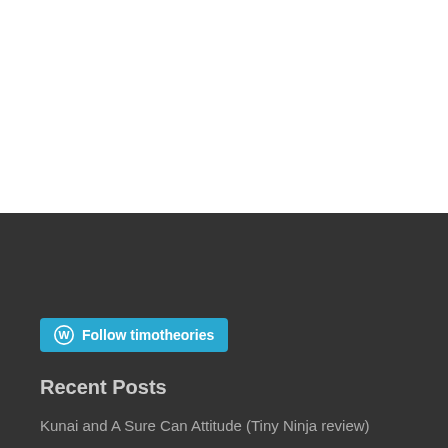[Figure (other): White blank area at top of page]
[Figure (other): Follow timotheories button with WordPress logo on dark background]
Recent Posts
Kunai and A Sure Can Attitude (Tiny Ninja review)